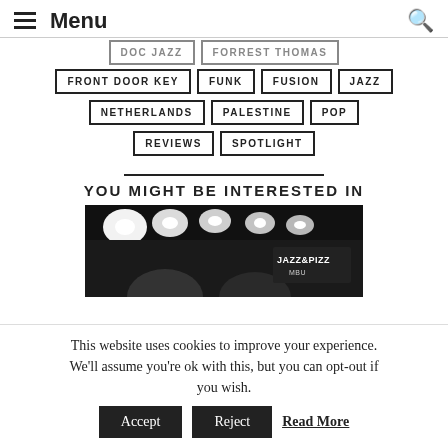Menu
DOC JAZZ | FORREST THOMAS
FRONT DOOR KEY | FUNK | FUSION | JAZZ
NETHERLANDS | PALESTINE | POP
REVIEWS | SPOTLIGHT
YOU MIGHT BE INTERESTED IN
[Figure (photo): Black and white photo of a concert venue showing stage lights and a Jazz & Pizza sign in the background]
This website uses cookies to improve your experience. We'll assume you're ok with this, but you can opt-out if you wish. Accept Reject Read More